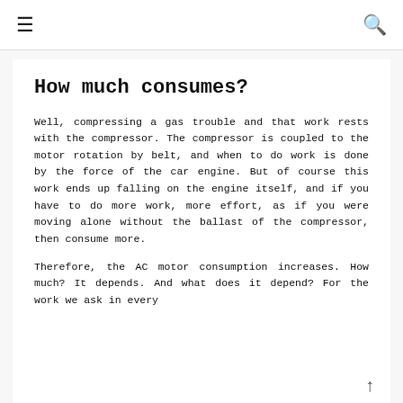☰  🔍
How much consumes?
Well, compressing a gas trouble and that work rests with the compressor. The compressor is coupled to the motor rotation by belt, and when to do work is done by the force of the car engine. But of course this work ends up falling on the engine itself, and if you have to do more work, more effort, as if you were moving alone without the ballast of the compressor, then consume more.
Therefore, the AC motor consumption increases. How much? It depends. And what does it depend? For the work we ask in every